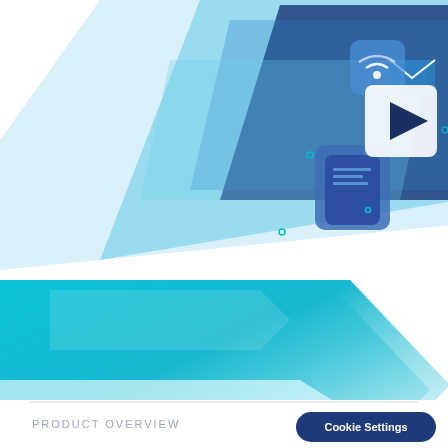[Figure (illustration): Product overview cover page with decorative geometric illustration. Upper portion shows a white rectangle region with tech/media icons (play button, phone, wifi, email icons) overlaid on a diagonal blue parallelogram shape in dark navy/teal. Lower portion shows a large teal-to-light-blue gradient chevron/arrow shape pointing right, with the bottom fading to white. Bottom bar shows 'PRODUCT OVERVIEW' text on left and a dark navy pill-shaped button labeled 'Cookie Settings' on the right.]